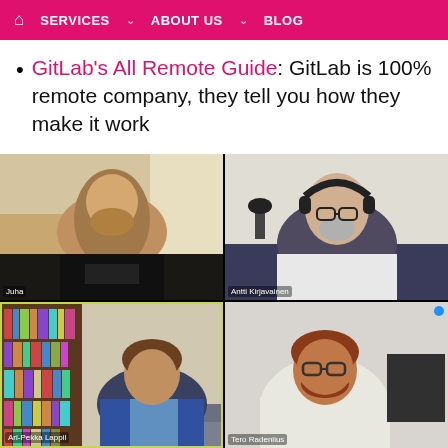🏠 SERVICES ∨   ABOUT US ∨   BLOG
GitLab's All Remote Guide: GitLab is 100% remote company, they tell you how they make it work
[Figure (screenshot): Video conference screenshot showing four participants in a 2x2 grid: top-left labeled 'Juha' (person with long hair and beard), top-right labeled 'Antti Kirjavainen' (person with headphones and beard), bottom-left labeled 'Ari-Pekka Lappil' (person in blue jacket with bookshelf behind), bottom-right labeled 'Tero Radeniius' (person with red beard and glasses in home office).]